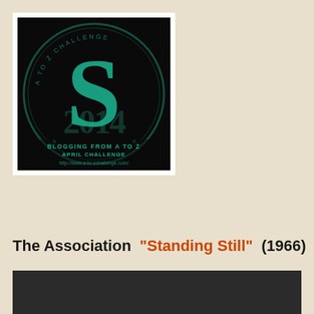[Figure (logo): A to Z Challenge logo featuring a large teal letter S overlaid on a coin-like circular badge with '2014' and 'A TO Z CHALLENGE' text, black background. Text reads: BLOGGING FROM A TO Z APRIL CHALLENGE http://www.a-to-zchallenge.com/]
The Association  "Standing Still"  (1966)
[Figure (screenshot): Dark/black video player bar at the bottom of the page]